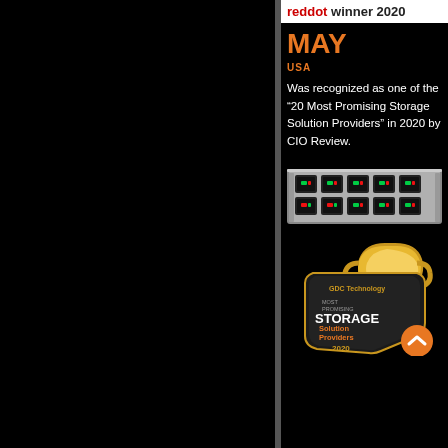[Figure (logo): reddot winner 2020 logo banner with red dot text on white background]
MAY
USA
Was recognized as one of the “20 Most Promising Storage Solution Providers” in 2020 by CIO Review.
[Figure (photo): Server rack unit hardware with green and red drive bay indicators]
[Figure (illustration): GDC Technology Most Promising Storage Solution Providers 2020 award badge with gold trophy]